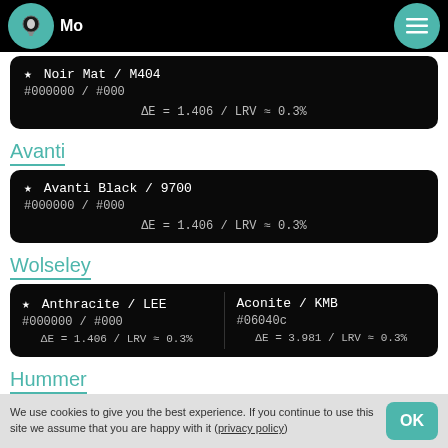Mo (logo) / Menu
★ Noir Mat / M404
#000000 / #000
ΔE = 1.406 / LRV ≈ 0.3%
Avanti
★ Avanti Black / 9700
#000000 / #000
ΔE = 1.406 / LRV ≈ 0.3%
Wolseley
★ Anthracite / LEE
#000000 / #000
ΔE = 1.406 / LRV ≈ 0.3%

Aconite / KMB
#06040c
ΔE = 3.981 / LRV ≈ 0.3%
Hummer
★ Ebony / 19

All Terrain Blue / 48
We use cookies to give you the best experience. If you continue to use this site we assume that you are happy with it (privacy policy)  OK